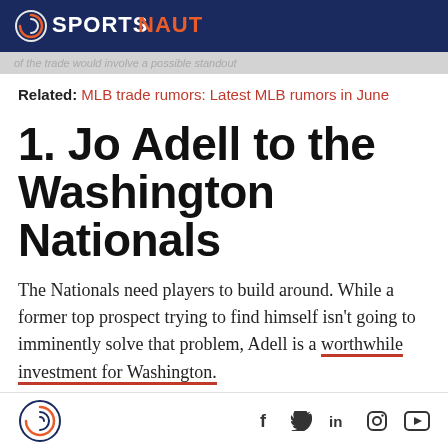SPORTSNAUT
of the trade would involve a possible standout
Related: MLB trade rumors: Latest MLB rumors in June
1. Jo Adell to the Washington Nationals
The Nationals need players to build around. While a former top prospect trying to find himself isn't going to imminently solve that problem, Adell is a worthwhile investment for Washington.
Sportsnaut logo and social media icons: Facebook, Twitter, LinkedIn, Instagram, YouTube